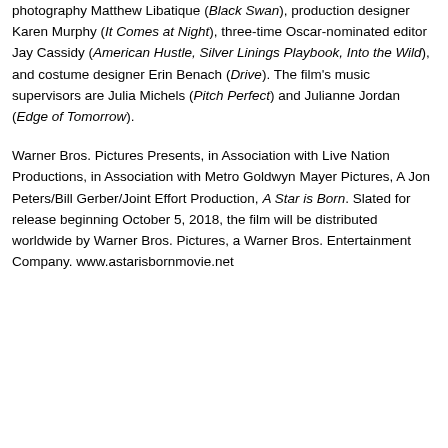photography Matthew Libatique (Black Swan), production designer Karen Murphy (It Comes at Night), three-time Oscar-nominated editor Jay Cassidy (American Hustle, Silver Linings Playbook, Into the Wild), and costume designer Erin Benach (Drive). The film's music supervisors are Julia Michels (Pitch Perfect) and Julianne Jordan (Edge of Tomorrow).
Warner Bros. Pictures Presents, in Association with Live Nation Productions, in Association with Metro Goldwyn Mayer Pictures, A Jon Peters/Bill Gerber/Joint Effort Production, A Star is Born. Slated for release beginning October 5, 2018, the film will be distributed worldwide by Warner Bros. Pictures, a Warner Bros. Entertainment Company. www.astarisbornmovie.net